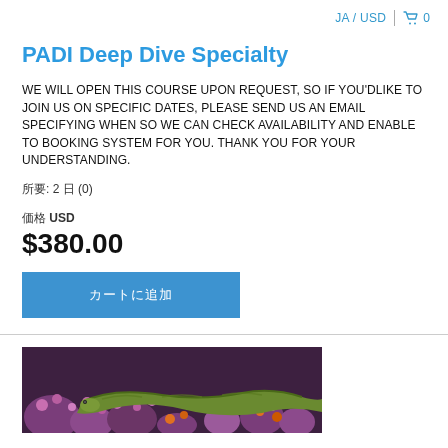JA / USD  🛒 0
PADI Deep Dive Specialty
WE WILL OPEN THIS COURSE UPON REQUEST, SO IF YOU'DLIKE TO JOIN US ON SPECIFIC DATES, PLEASE SEND US AN EMAIL SPECIFYING WHEN SO WE CAN CHECK AVAILABILITY AND ENABLE TO BOOKING SYSTEM FOR YOU. THANK YOU FOR YOUR UNDERSTANDING.
所要: 2 日 (0)
価格 USD
$380.00
カートに追加
[Figure (photo): Underwater photo showing a green moray eel among colorful coral reef with purple, pink and orange corals]